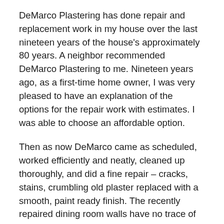DeMarco Plastering has done repair and replacement work in my house over the last nineteen years of the house's approximately 80 years. A neighbor recommended DeMarco Plastering to me. Nineteen years ago, as a first-time home owner, I was very pleased to have an explanation of the options for the repair work with estimates. I was able to choose an affordable option.
Then as now DeMarco came as scheduled, worked efficiently and neatly, cleaned up thoroughly, and did a fine repair – cracks, stains, crumbling old plaster replaced with a smooth, paint ready finish. The recently repaired dining room walls have no trace of the bubbled plaster from a persistent leak. But it's the beautiful dining room ceiling I would show off as an example of DeMarco's expert work. The ceiling was replaced entirely ten years ago. Watching the project